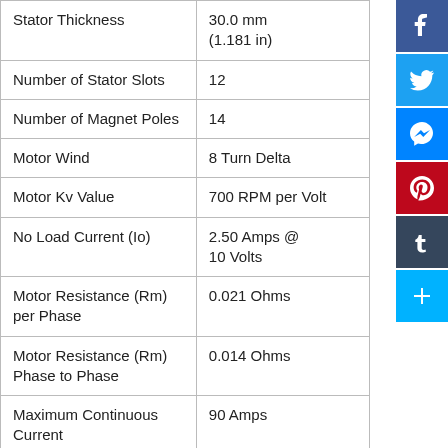| Property | Value |
| --- | --- |
| Stator Thickness | 30.0 mm
(1.181 in) |
| Number of Stator Slots | 12 |
| Number of Magnet Poles | 14 |
| Motor Wind | 8 Turn Delta |
| Motor Kv Value | 700 RPM per Volt |
| No Load Current (Io) | 2.50 Amps @ 10 Volts |
| Motor Resistance (Rm) per Phase | 0.021 Ohms |
| Motor Resistance (Rm) Phase to Phase | 0.014 Ohms |
| Maximum Continuous Current | 90 Amps |
| Max Continuous Power (3-cell Li-Po) | 1000 Watts |